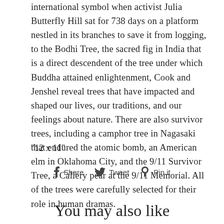international symbol when activist Julia Butterfly Hill sat for 738 days on a platform nestled in its branches to save it from logging, to the Bodhi Tree, the sacred fig in India that is a direct descendent of the tree under which Buddha attained enlightenment, Cook and Jenshel reveal trees that have impacted and shaped our lives, our traditions, and our feelings about nature. There are also survivor trees, including a camphor tree in Nagasaki that endured the atomic bomb, an American elm in Oklahoma City, and the 9/11 Survivor Tree, a Callery pear at the 9/11 Memorial. All of the trees were carefully selected for their role in human dramas.
"12 x 11"
Share  Tweet  Pin it
You may also like